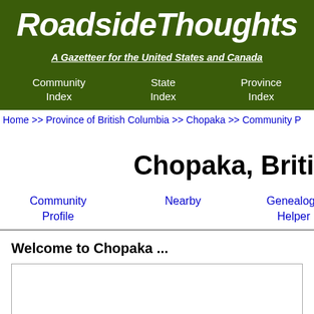RoadsideThoughts
A Gazetteer for the United States and Canada
Community Index   State Index   Province Index
Home >> Province of British Columbia >> Chopaka >> Community P
Chopaka, Briti
Community Profile   Nearby   Genealogy Helper   Cemeteries
Welcome to Chopaka ...